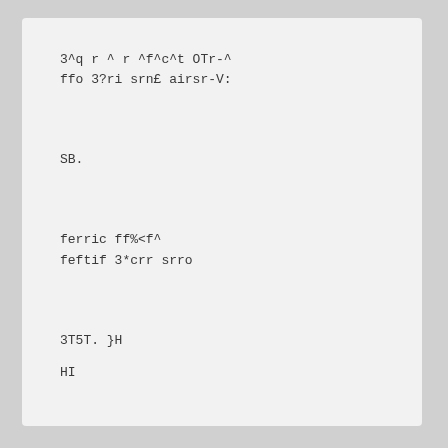3^q r ^ r ^f^c^t OTr-^
ffo 3?ri srn£ airsr-V:
SB.
ferric ff%<f^
feftif 3*crr srro
3T5T. }H
HI